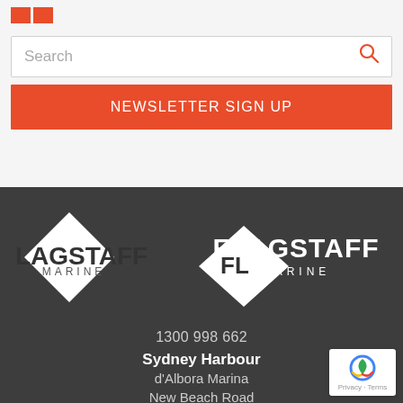[Figure (logo): Two red square logo marks in top left corner]
Search
NEWSLETTER SIGN UP
[Figure (logo): Flagstaff Marine diamond logo in white on dark grey background]
1300 998 662
Sydney Harbour
d'Albora Marina
New Beach Road
Rushcutters Bay NSW 2027